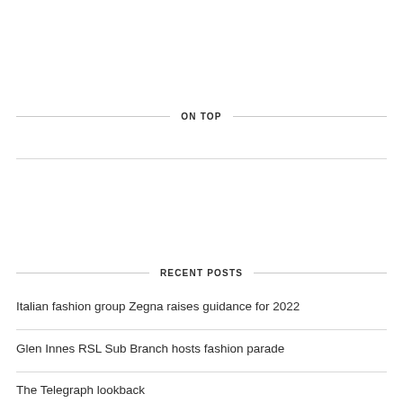ON TOP
RECENT POSTS
Italian fashion group Zegna raises guidance for 2022
Glen Innes RSL Sub Branch hosts fashion parade
The Telegraph lookback